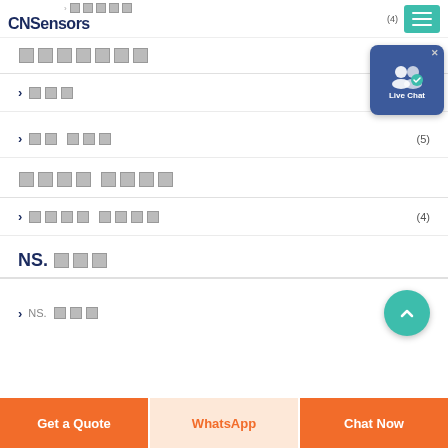CNSensors
[redacted category title]
> [redacted]
[redacted section 2]
> [redacted subcategory] (5)
[redacted section 3]
> [redacted subcategory] (4)
NS. [redacted]
> NS.[redacted]
Get a Quote | WhatsApp | Chat Now